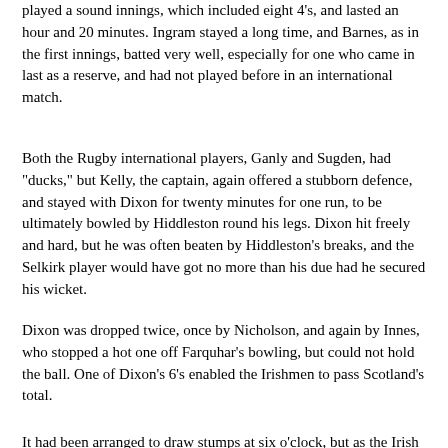played a sound innings, which included eight 4's, and lasted an hour and 20 minutes. Ingram stayed a long time, and Barnes, as in the first innings, batted very well, especially for one who came in last as a reserve, and had not played before in an international match.
Both the Rugby international players, Ganly and Sugden, had "ducks," but Kelly, the captain, again offered a stubborn defence, and stayed with Dixon for twenty minutes for one run, to be ultimately bowled by Hiddleston round his legs. Dixon hit freely and hard, but he was often beaten by Hiddleston's breaks, and the Selkirk player would have got no more than his due had he secured his wicket.
Dixon was dropped twice, once by Nicholson, and again by Innes, who stopped a hot one off Farquhar's bowling, but could not hold the ball. One of Dixon's 6's enabled the Irishmen to pass Scotland's total.
It had been arranged to draw stumps at six o'clock, but as the Irish